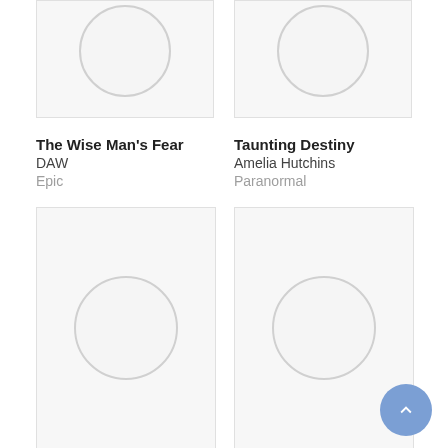[Figure (illustration): Book cover placeholder image with grey circle for The Wise Man's Fear, top half cropped]
The Wise Man's Fear
DAW
Epic
[Figure (illustration): Book cover placeholder image with grey circle for Taunting Destiny, top half cropped]
Taunting Destiny
Amelia Hutchins
Paranormal
[Figure (illustration): Book cover placeholder image with grey circle for The Rise of the]
The Rise of the
[Figure (illustration): Book cover placeholder image with grey circle for Towers of Midnight]
Towers of Midnight